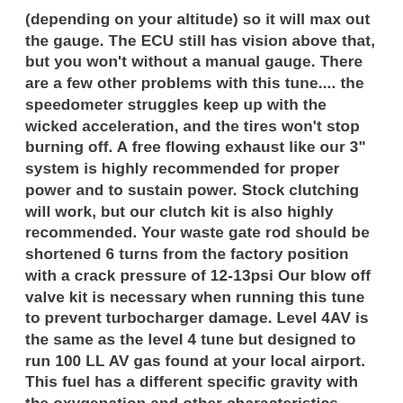(depending on your altitude) so it will max out the gauge. The ECU still has vision above that, but you won't without a manual gauge. There are a few other problems with this tune.... the speedometer struggles keep up with the wicked acceleration, and the tires won't stop burning off. A free flowing exhaust like our 3" system is highly recommended for proper power and to sustain power. Stock clutching will work, but our clutch kit is also highly recommended. Your waste gate rod should be shortened 6 turns from the factory position with a crack pressure of 12-13psi Our blow off valve kit is necessary when running this tune to prevent turbocharger damage. Level 4AV is the same as the level 4 tune but designed to run 100 LL AV gas found at your local airport. This fuel has a different specific gravity with the oxygenation and other characteristics. Running a tune not meant for this